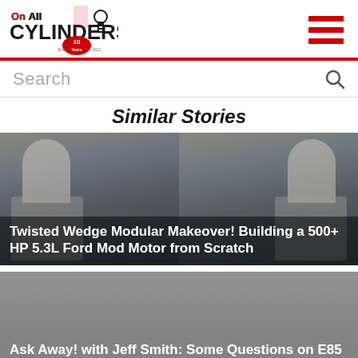On All Cylinders – 10 Years
Search
Similar Stories
[Figure (photo): Man in race uniform working on engine in garage setting, shown twice (left and right panels), with overlay text about Twisted Wedge article]
Twisted Wedge Modular Makeover! Building a 500+ HP 5.3L Ford Mod Motor from Scratch
[Figure (photo): Gray/muted background card for second story about E85 and MPG]
Ask Away! with Jeff Smith: Some Questions on E85 & MPG